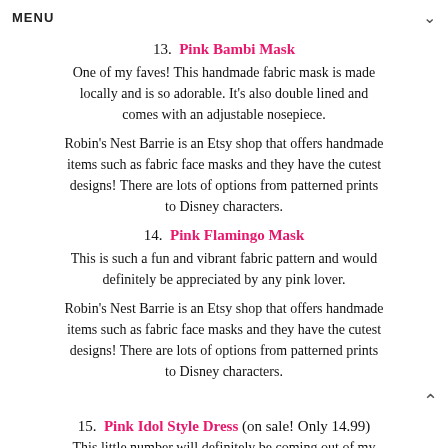MENU
13. Pink Bambi Mask
One of my faves! This handmade fabric mask is made locally and is so adorable. It's also double lined and comes with an adjustable nosepiece.
Robin's Nest Barrie is an Etsy shop that offers handmade items such as fabric face masks and they have the cutest designs! There are lots of options from patterned prints to Disney characters.
14. Pink Flamingo Mask
This is such a fun and vibrant fabric pattern and would definitely be appreciated by any pink lover.
Robin's Nest Barrie is an Etsy shop that offers handmade items such as fabric face masks and they have the cutest designs! There are lots of options from patterned prints to Disney characters.
15. Pink Idol Style Dress (on sale! Only 14.99)
This little number will definitely be coming out of my closet and styled for holiday this year!